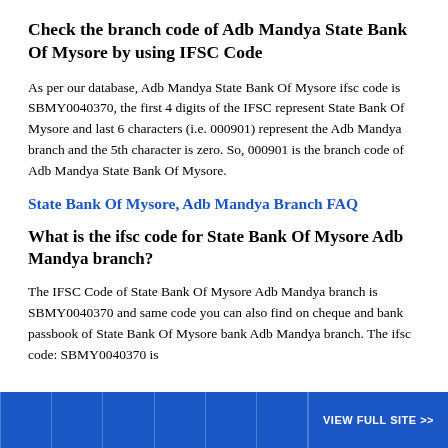Check the branch code of Adb Mandya State Bank Of Mysore by using IFSC Code
As per our database, Adb Mandya State Bank Of Mysore ifsc code is SBMY0040370, the first 4 digits of the IFSC represent State Bank Of Mysore and last 6 characters (i.e. 000901) represent the Adb Mandya branch and the 5th character is zero. So, 000901 is the branch code of Adb Mandya State Bank Of Mysore.
State Bank Of Mysore, Adb Mandya Branch FAQ
What is the ifsc code for State Bank Of Mysore Adb Mandya branch?
The IFSC Code of State Bank Of Mysore Adb Mandya branch is SBMY0040370 and same code you can also find on cheque and bank passbook of State Bank Of Mysore bank Adb Mandya branch. The ifsc code: SBMY0040370 is
VIEW FULL SITE >>